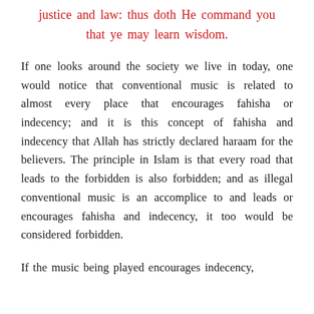justice and law: thus doth He command you that ye may learn wisdom.
If one looks around the society we live in today, one would notice that conventional music is related to almost every place that encourages fahisha or indecency; and it is this concept of fahisha and indecency that Allah has strictly declared haraam for the believers. The principle in Islam is that every road that leads to the forbidden is also forbidden; and as illegal conventional music is an accomplice to and leads or encourages fahisha and indecency, it too would be considered forbidden.
If the music being played encourages indecency,